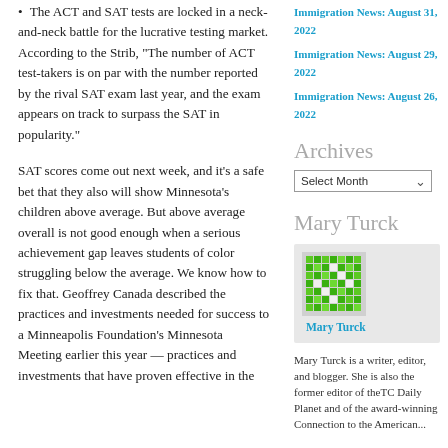The ACT and SAT tests are locked in a neck-and-neck battle for the lucrative testing market. According to the Strib, “The number of ACT test-takers is on par with the number reported by the rival SAT exam last year, and the exam appears on track to surpass the SAT in popularity.”
SAT scores come out next week, and it’s a safe bet that they also will show Minnesota’s children above average. But above average overall is not good enough when a serious achievement gap leaves students of color struggling below the average. We know how to fix that. Geoffrey Canada described the practices and investments needed for success to a Minneapolis Foundation’s Minnesota Meeting earlier this year — practices and investments that have proven effective in the
Immigration News: August 31, 2022
Immigration News: August 29, 2022
Immigration News: August 26, 2022
Archives
Mary Turck
[Figure (photo): Green pixelated avatar image for Mary Turck]
Mary Turck is a writer, editor, and blogger. She is also the former editor of theTC Daily Planet and of the award-winning Connection to the American...